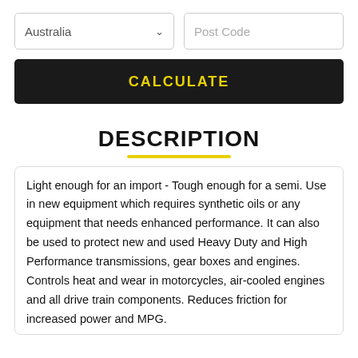Australia
Post Code
CALCULATE
DESCRIPTION
Light enough for an import - Tough enough for a semi. Use in new equipment which requires synthetic oils or any equipment that needs enhanced performance. It can also be used to protect new and used Heavy Duty and High Performance transmissions, gear boxes and engines. Controls heat and wear in motorcycles, air-cooled engines and all drive train components. Reduces friction for increased power and MPG.